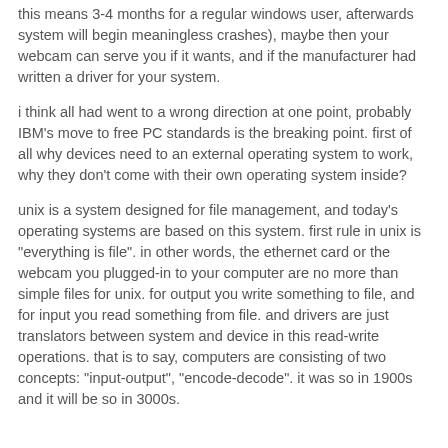this means 3-4 months for a regular windows user, afterwards system will begin meaningless crashes), maybe then your webcam can serve you if it wants, and if the manufacturer had written a driver for your system.
i think all had went to a wrong direction at one point, probably IBM's move to free PC standards is the breaking point. first of all why devices need to an external operating system to work, why they don't come with their own operating system inside?
unix is a system designed for file management, and today's operating systems are based on this system. first rule in unix is "everything is file". in other words, the ethernet card or the webcam you plugged-in to your computer are no more than simple files for unix. for output you write something to file, and for input you read something from file. and drivers are just translators between system and device in this read-write operations. that is to say, computers are consisting of two concepts: "input-output", "encode-decode". it was so in 1900s and it will be so in 3000s.